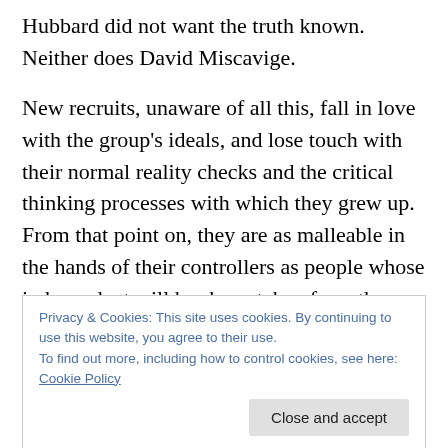Hubbard did not want the truth known. Neither does David Miscavige.
New recruits, unaware of all this, fall in love with the group’s ideals, and lose touch with their normal reality checks and the critical thinking processes with which they grew up. From that point on, they are as malleable in the hands of their controllers as people whose independent will has been taken from them. My friends and colleagues present at this meeting in Hamburg, have all experienced the same. For many years we had no idea that we were
Privacy & Cookies: This site uses cookies. By continuing to use this website, you agree to their use.
To find out more, including how to control cookies, see here: Cookie Policy
only techniques to remove their fears and concerns